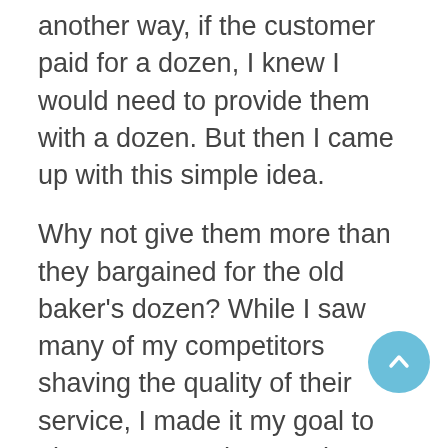another way, if the customer paid for a dozen, I knew I would need to provide them with a dozen. But then I came up with this simple idea.

Why not give them more than they bargained for the old baker's dozen? While I saw many of my competitors shaving the quality of their service, I made it my goal to give more. In other words, while many of my competitors were providing service that fell short of a dozen, I was offering my customers thirteen (or more). I later learned that the principle of being a “giver” company is also taught by several respected business authorities.